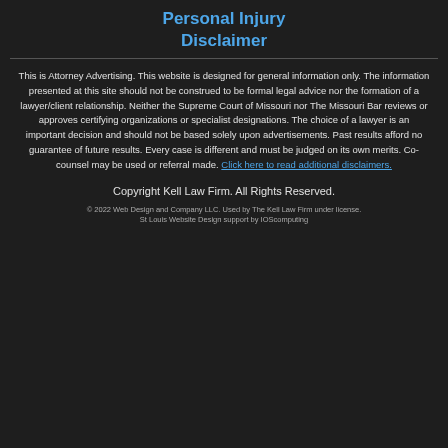Personal Injury Disclaimer
This is Attorney Advertising. This website is designed for general information only. The information presented at this site should not be construed to be formal legal advice nor the formation of a lawyer/client relationship. Neither the Supreme Court of Missouri nor The Missouri Bar reviews or approves certifying organizations or specialist designations. The choice of a lawyer is an important decision and should not be based solely upon advertisements. Past results afford no guarantee of future results. Every case is different and must be judged on its own merits. Co-counsel may be used or referral made. Click here to read additional disclaimers.
Copyright Kell Law Firm. All Rights Reserved.
© 2022 Web Design and Company LLC. Used by The Kell Law Firm under license. St Louis Website Design support by IOScomputing